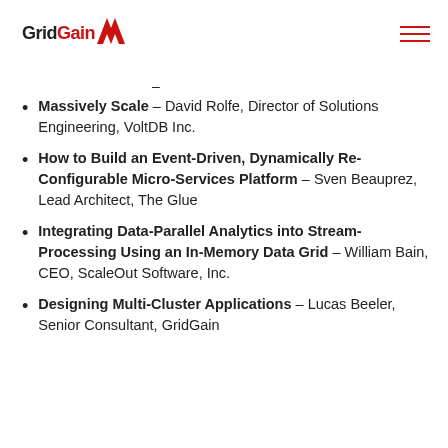GridGain
Massively Scale – David Rolfe, Director of Solutions Engineering, VoltDB Inc.
How to Build an Event-Driven, Dynamically Re-Configurable Micro-Services Platform – Sven Beauprez, Lead Architect, The Glue
Integrating Data-Parallel Analytics into Stream-Processing Using an In-Memory Data Grid – William Bain, CEO, ScaleOut Software, Inc.
Designing Multi-Cluster Applications – Lucas Beeler, Senior Consultant, GridGain